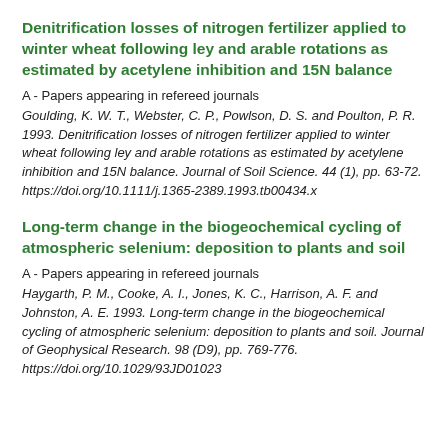Denitrification losses of nitrogen fertilizer applied to winter wheat following ley and arable rotations as estimated by acetylene inhibition and 15N balance
A - Papers appearing in refereed journals
Goulding, K. W. T., Webster, C. P., Powlson, D. S. and Poulton, P. R. 1993. Denitrification losses of nitrogen fertilizer applied to winter wheat following ley and arable rotations as estimated by acetylene inhibition and 15N balance. Journal of Soil Science. 44 (1), pp. 63-72. https://doi.org/10.1111/j.1365-2389.1993.tb00434.x
Long-term change in the biogeochemical cycling of atmospheric selenium: deposition to plants and soil
A - Papers appearing in refereed journals
Haygarth, P. M., Cooke, A. I., Jones, K. C., Harrison, A. F. and Johnston, A. E. 1993. Long-term change in the biogeochemical cycling of atmospheric selenium: deposition to plants and soil. Journal of Geophysical Research. 98 (D9), pp. 769-776. https://doi.org/10.1029/93JD01023